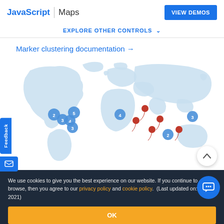JavaScript | Maps
VIEW DEMOS
EXPLORE OTHER CONTROLS ˅
Marker clustering documentation →
[Figure (map): World map showing marker clustering with numbered blue circle clusters (2,3,4,5) and red map pin markers. Clusters visible in North America (2,3,4,5), Europe (4), East Asia (3), South/Southeast Asia (2), and red pins in Middle East/Central Asia regions.]
We use cookies to give you the best experience on our website. If you continue to browse, then you agree to our privacy policy and cookie policy. (Last updated on: April 7, 2021)
OK